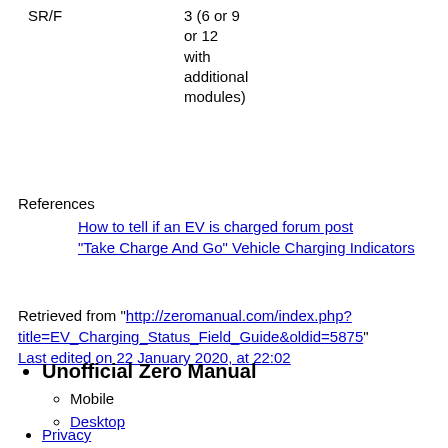| SR/F | 3 (6 or 9 or 12 with additional modules) |
References
How to tell if an EV is charged forum post
"Take Charge And Go" Vehicle Charging Indicators
Retrieved from "http://zeromanual.com/index.php?title=EV_Charging_Status_Field_Guide&oldid=5875"
Last edited on 22 January 2020, at 22:02
Unofficial Zero Manual
Mobile
Desktop
Privacy